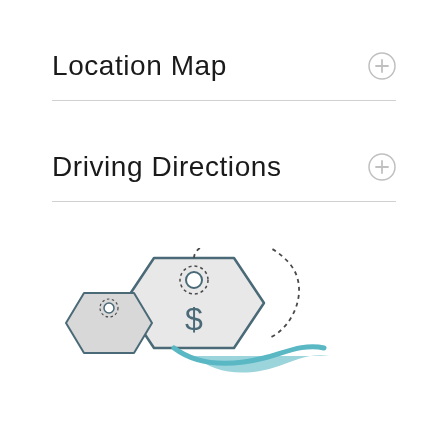Location Map
Driving Directions
[Figure (illustration): Price tag illustration with a dollar sign and dotted curved line, rendered in teal/blue-gray and light gray colors, partially cropped at the bottom of the page]